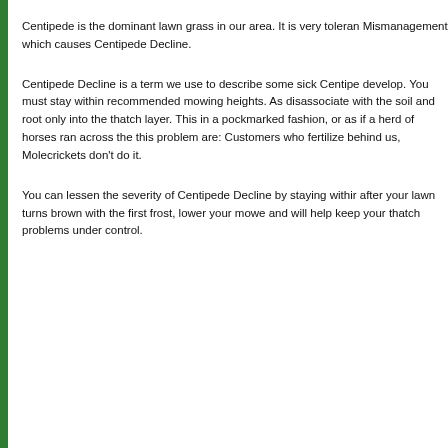Centipede is the dominant lawn grass in our area. It is very toleran Mismanagement which causes Centipede Decline.
Centipede Decline is a term we use to describe some sick Centipe develop. You must stay within recommended mowing heights. As disassociate with the soil and root only into the thatch layer. This in a pockmarked fashion, or as if a herd of horses ran across the this problem are: Customers who fertilize behind us, Molecrickets don't do it.
You can lessen the severity of Centipede Decline by staying withir after your lawn turns brown with the first frost, lower your mowe and will help keep your thatch problems under control.